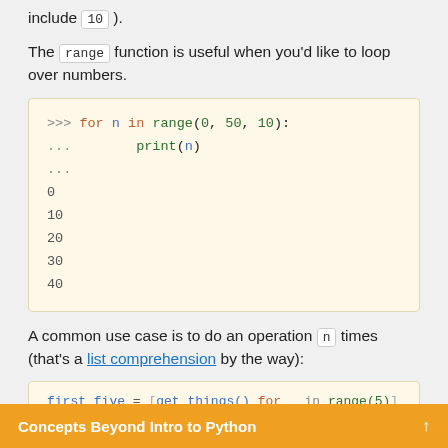include 10 ).
The range function is useful when you'd like to loop over numbers.
[Figure (screenshot): Python interactive code block showing: >>> for n in range(0, 50, 10): ...     print(n) ... 0 10 20 30 40]
A common use case is to do an operation n times (that's a list comprehension by the way):
[Figure (screenshot): Python code block beginning: first_five = [get_things() for _ in range(5)]]
Concepts Beyond Intro to Python ↑